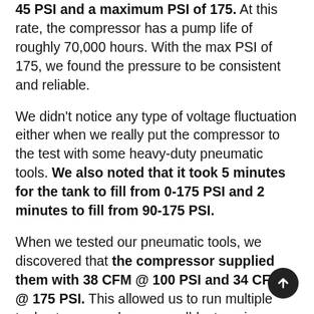45 PSI and a maximum PSI of 175. At this rate, the compressor has a pump life of roughly 70,000 hours. With the max PSI of 175, we found the pressure to be consistent and reliable.
We didn't notice any type of voltage fluctuation either when we really put the compressor to the test with some heavy-duty pneumatic tools. We also noted that it took 5 minutes for the tank to fill from 0-175 PSI and 2 minutes to fill from 90-175 PSI.
When we tested our pneumatic tools, we discovered that the compressor supplied them with 38 CFM @ 100 PSI and 34 CFM @ 175 PSI. This allowed us to run multiple tools at once such as a sandblaster, air hammer, impact gun, framing nailer, and more.